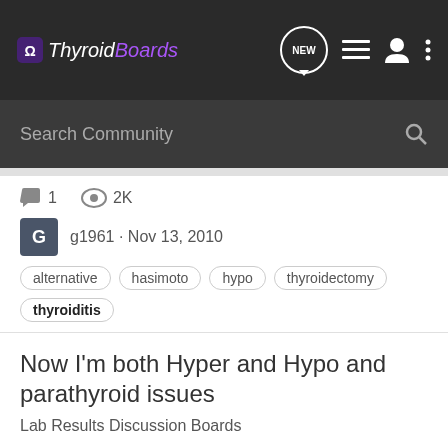ThyroidBoards
Search Community
1   2K
g1961 · Nov 13, 2010
alternative
hasimoto
hypo
thyroidectomy
thyroiditis
Now I'm both Hyper and Hypo and parathyroid issues
Lab Results Discussion Boards
Wow, my case just got more complicated, here's my story: I'm 6 months postpartum. I had hypo symptoms so I asked OB for a test a few weeks ago. Test said TSH was .06 at my OB, and the T3 and T4 were on the upper end of normal-so I was hyper then, but I KNOW I was hypo a month before. So I...